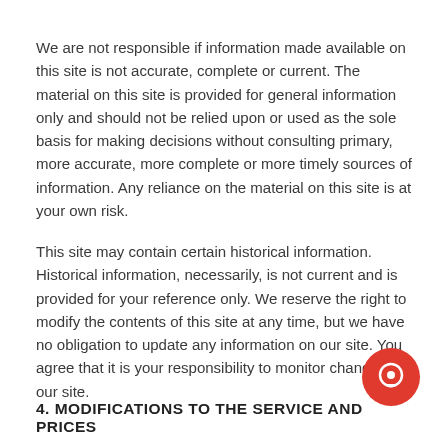We are not responsible if information made available on this site is not accurate, complete or current. The material on this site is provided for general information only and should not be relied upon or used as the sole basis for making decisions without consulting primary, more accurate, more complete or more timely sources of information. Any reliance on the material on this site is at your own risk.
This site may contain certain historical information. Historical information, necessarily, is not current and is provided for your reference only. We reserve the right to modify the contents of this site at any time, but we have no obligation to update any information on our site. You agree that it is your responsibility to monitor changes to our site.
4. MODIFICATIONS TO THE SERVICE AND PRICES